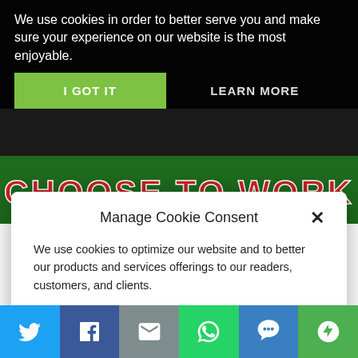We use cookies in order to better serve you and make sure your experience on our website is the most enjoyable.
I GOT IT
LEARN MORE
[Figure (screenshot): Green banner with red/white stylized text reading CHOOSE TO WORK]
Manage Cookie Consent
We use cookies to optimize our website and to better our products and services offerings to our readers, customers, and clients.
Accept
Cookie Policy   Notices
11/12/2021   DAVID WARD
We all dream. It's part of the unique nature of every human ever born. We are
[Figure (screenshot): Social sharing bar at bottom with Twitter, Facebook, Email, WhatsApp, SMS, and More buttons]